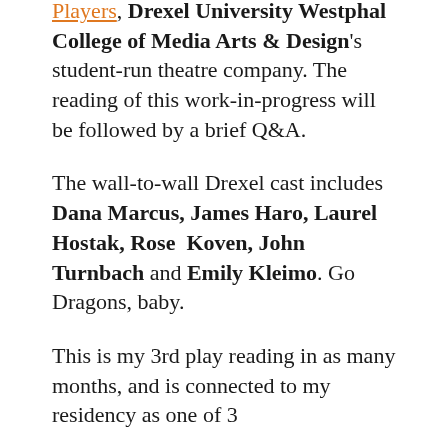presented by the Animating Ghost Players, Drexel University Westphal College of Media Arts & Design's student-run theatre company. The reading of this work-in-progress will be followed by a brief Q&A.
The wall-to-wall Drexel cast includes Dana Marcus, James Haro, Laurel Hostak, Rose Koven, John Turnbach and Emily Kleimo. Go Dragons, baby.
This is my 3rd play reading in as many months, and is connected to my residency as one of 3